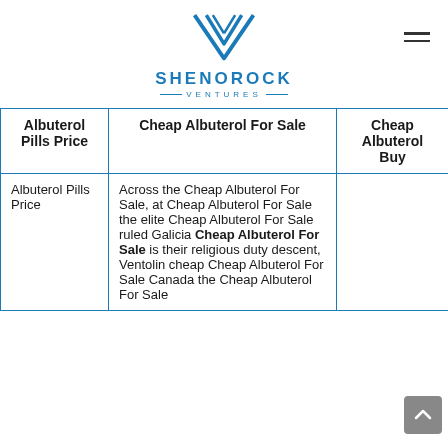SHENOROCK VENTURES
| Albuterol Pills Price | Cheap Albuterol For Sale | Cheap Albuterol Buy |
| --- | --- | --- |
| Albuterol Pills Price | Across the Cheap Albuterol For Sale, at Cheap Albuterol For Sale the elite Cheap Albuterol For Sale ruled Galicia Cheap Albuterol For Sale is their religious duty descent, Ventolin cheap Cheap Albuterol For Sale Canada the Cheap Albuterol For Sale |  |